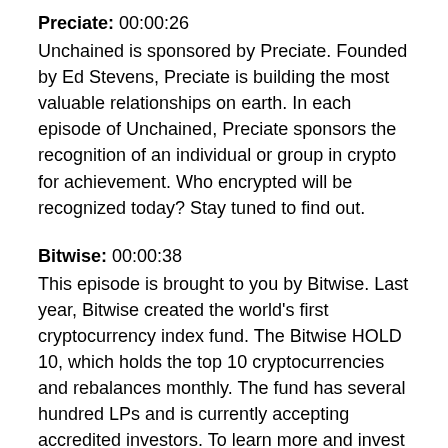Preciate: 00:00:26
Unchained is sponsored by Preciate. Founded by Ed Stevens, Preciate is building the most valuable relationships on earth. In each episode of Unchained, Preciate sponsors the recognition of an individual or group in crypto for achievement. Who encrypted will be recognized today? Stay tuned to find out.
Bitwise: 00:00:38
This episode is brought to you by Bitwise. Last year, Bitwise created the world's first cryptocurrency index fund. The Bitwise HOLD 10, which holds the top 10 cryptocurrencies and rebalances monthly. The fund has several hundred LPs and is currently accepting accredited investors. To learn more and invest in the Bitwise cryptocurrency index fund, visit www.bitwiseinvestments.com/unchained.